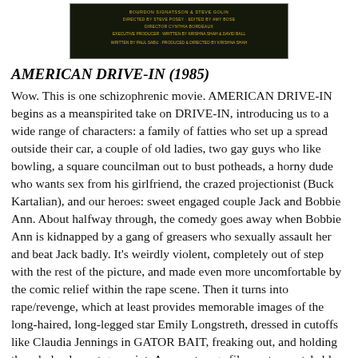[Figure (photo): Movie title card / poster image for AMERICAN DRIVE-IN (1985) showing credits text on dark/black background with golden text]
AMERICAN DRIVE-IN (1985)
Wow. This is one schizophrenic movie. AMERICAN DRIVE-IN begins as a meanspirited take on DRIVE-IN, introducing us to a wide range of characters: a family of fatties who set up a spread outside their car, a couple of old ladies, two gay guys who like bowling, a square councilman out to bust potheads, a horny dude who wants sex from his girlfriend, the crazed projectionist (Buck Kartalian), and our heroes: sweet engaged couple Jack and Bobbie Ann. About halfway through, the comedy goes away when Bobbie Ann is kidnapped by a gang of greasers who sexually assault her and beat Jack badly. It’s weirdly violent, completely out of step with the rest of the picture, and made even more uncomfortable by the comic relief within the rape scene. Then it turns into rape/revenge, which at least provides memorable images of the long-haired, long-legged star Emily Longstreth, dressed in cutoffs like Claudia Jennings in GATOR BAIT, freaking out, and holding the whole place at gunpoint. A very strange film, not unwatchable—in fact, its uncomfortable blend of childish hijinks and revenge melodrama probably makes it more interesting than if it had been one or the other.